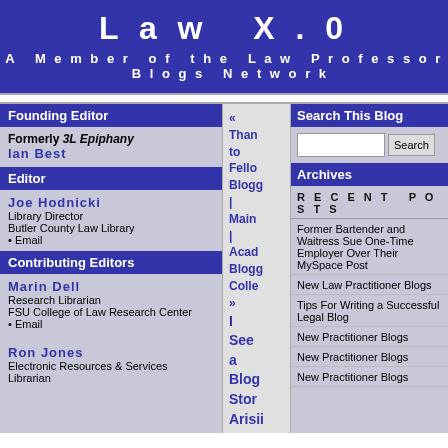Law X.0
A Member of the Law Professor Blogs Network
Founding Editor
Formerly 3L Epiphany
Ian Best
Editor
Joe Hodnicki
Library Director
Butler County Law Library
• Email
Contributing Editors
Marin Dell
Research Librarian
FSU College of Law Research Center
• Email
Ron Jones
Electronic Resources & Services Librarian
« Thanks to Fellow Bloggers | Main | Academic Blogging Collection »
I See a Blog Story Arising
Search This Blog
Archives
RECENT POSTS
Former Bartender and Waitress Sue One-Time Employer Over Their MySpace Post
New Law Practitioner Blogs
Tips For Writing a Successful Legal Blog
New Practitioner Blogs
New Practitioner Blogs
New Practitioner Blogs